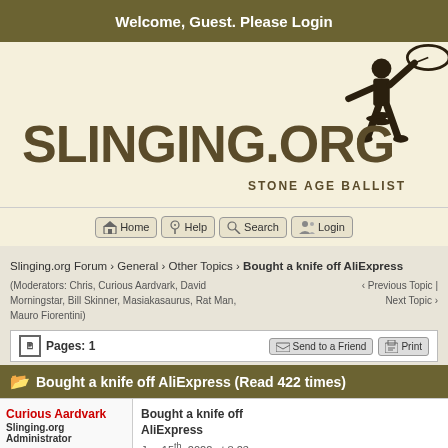Welcome, Guest. Please Login
[Figure (logo): Slinging.org logo with silhouette of slinger and text SLINGING.ORG STONE AGE BALLIST]
Home | Help | Search | Login navigation buttons
Slinging.org Forum › General › Other Topics › Bought a knife off AliExpress
(Moderators: Chris, Curious Aardvark, David Morningstar, Bill Skinner, Masiakasaurus, Rat Man, Mauro Fiorentini)
‹ Previous Topic | Next Topic ›
Pages: 1
Send to a Friend  Print
Bought a knife off AliExpress (Read 422 times)
Curious Aardvark
Slinging.org Administrator
★★★★★
Offline
Bought a knife off AliExpress
Jan 15th, 2022 at 8:23am